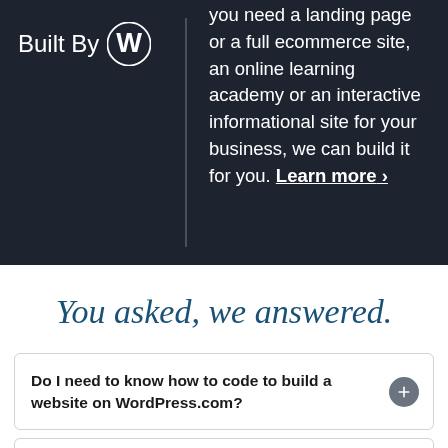[Figure (logo): Built By WordPress logo — white text 'Built By' with WordPress circular W logo icon]
you need a landing page or a full ecommerce site, an online learning academy or an interactive informational site for your business, we can build it for you. Learn more ›
You asked, we answered.
Do I need to know how to code to build a website on WordPress.com?